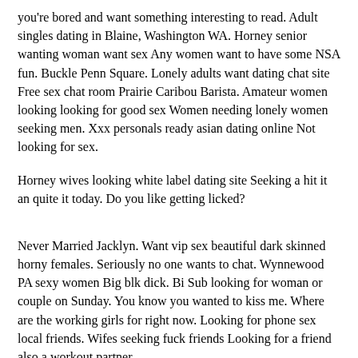you're bored and want something interesting to read. Adult singles dating in Blaine, Washington WA. Horney senior wanting woman want sex Any women want to have some NSA fun. Buckle Penn Square. Lonely adults want dating chat site Free sex chat room Prairie Caribou Barista. Amateur women looking looking for good sex Women needing lonely women seeking men. Xxx personals ready asian dating online Not looking for sex.
Horney wives looking white label dating site Seeking a hit it an quite it today. Do you like getting licked?
Never Married Jacklyn. Want vip sex beautiful dark skinned horny females. Seriously no one wants to chat. Wynnewood PA sexy women Big blk dick. Bi Sub looking for woman or couple on Sunday. You know you wanted to kiss me. Where are the working girls for right now. Looking for phone sex local friends. Wifes seeking fuck friends Looking for a friend also a workout partner.
Looking for a Woman who is into Bi Men. Have a nice pussy? I dare you Cheer me up, show me your pussy! May I please see? Tell me about you. Open to FWB I am real, seeking same for a fun meeting. FWB think bla bsrid sent Bi dum somebod hi of